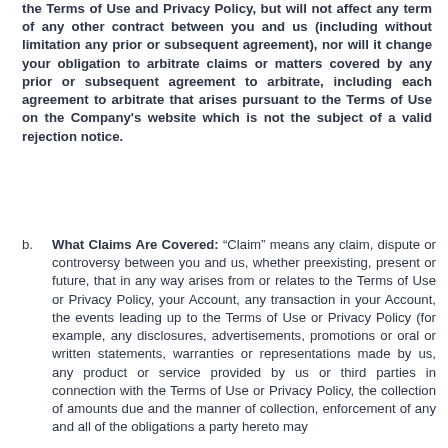the Terms of Use and Privacy Policy, but will not affect any term of any other contract between you and us (including without limitation any prior or subsequent agreement), nor will it change your obligation to arbitrate claims or matters covered by any prior or subsequent agreement to arbitrate, including each agreement to arbitrate that arises pursuant to the Terms of Use on the Company's website which is not the subject of a valid rejection notice.
b. What Claims Are Covered: "Claim" means any claim, dispute or controversy between you and us, whether preexisting, present or future, that in any way arises from or relates to the Terms of Use or Privacy Policy, your Account, any transaction in your Account, the events leading up to the Terms of Use or Privacy Policy (for example, any disclosures, advertisements, promotions or oral or written statements, warranties or representations made by us, any product or service provided by us or third parties in connection with the Terms of Use or Privacy Policy, the collection of amounts due and the manner of collection, enforcement of any and all of the obligations a party hereto may